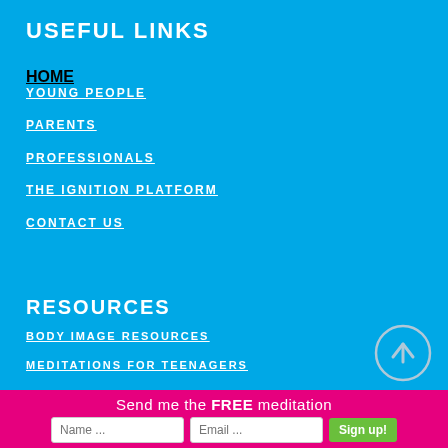USEFUL LINKS
HOME
YOUNG PEOPLE
PARENTS
PROFESSIONALS
THE IGNITION PLATFORM
CONTACT US
RESOURCES
BODY IMAGE RESOURCES
MEDITATIONS FOR TEENAGERS
Send me the FREE meditation
Name ... Email ... Sign up!